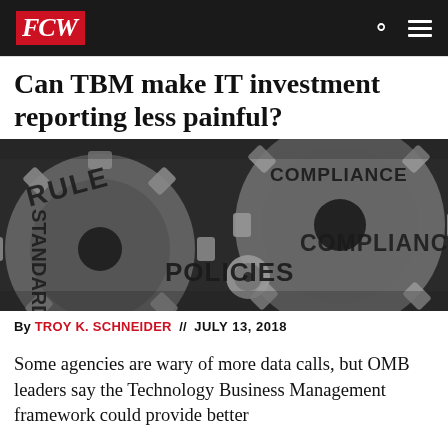FCW
Can TBM make IT investment reporting less painful?
[Figure (photo): Close-up photo of interlocking metal gears with words embossed on them: RULES, COMPLIANCE, STANDARDS, POLICIES]
By TROY K. SCHNEIDER // JULY 13, 2018
Some agencies are wary of more data calls, but OMB leaders say the Technology Business Management framework could provide better